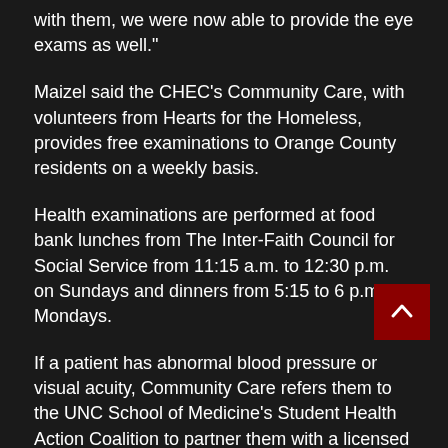with them, we were now able to provide the eye exams as well."
Maizel said the CHEC's Community Care, with volunteers from Hearts for the Homeless, provides free examinations to Orange County residents on a weekly basis.
Health examinations are performed at food bank lunches from The Inter-Faith Council for Social Service from 11:15 a.m. to 12:30 p.m. on Sundays and dinners from 5:15 to 6 p.m. on Mondays.
If a patient has abnormal blood pressure or visual acuity, Community Care refers them to the UNC School of Medicine's Student Health Action Coalition to partner them with a licensed physician.
"We're kind of this spark to push them towards that," Maizel said.
Disability Awareness Council Executive Director Timothy